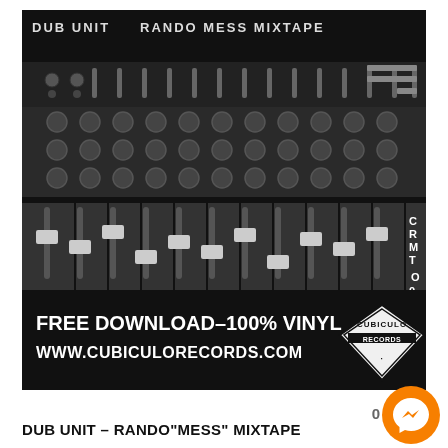[Figure (photo): Black and white photo of a mixing board/audio console with faders and knobs. Text overlaid at top reads 'DUB UNIT RANDO MESS MIXTAPE'. Bottom banner shows 'FREE DOWNLOAD - 100% VINYL' and 'WWW.CUBICULORECORDS.COM' with a diamond-shaped Cubiculo Records logo badge.]
DUB UNIT – RANDO“MESS” MIXTAPE